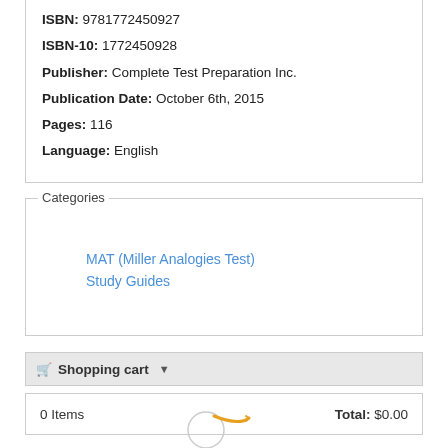ISBN: 9781772450927
ISBN-10: 1772450928
Publisher: Complete Test Preparation Inc.
Publication Date: October 6th, 2015
Pages: 116
Language: English
Categories
MAT (Miller Analogies Test)
Study Guides
Shopping cart
0 Items    Total: $0.00
[Figure (logo): Circular logo with orange/gold checkmark swoosh]